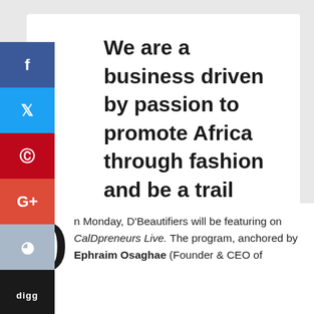We are a business driven by passion to promote Africa through fashion and be a trail blazer for those that will follow-up in our footsteps
- Safuratu Bakare
On Monday, D'Beautifiers will be featuring on CalDpreneurs Live. The program, anchored by Ephraim Osaghae (Founder & CEO of CalDpreneurs LIVE) focuses on...